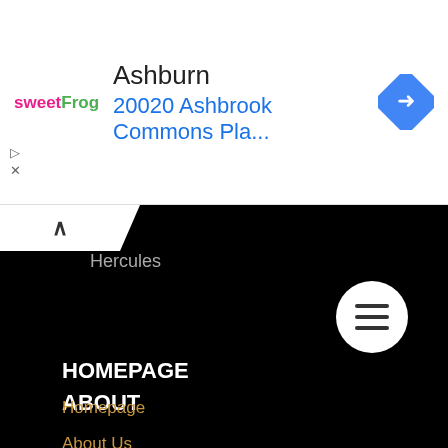[Figure (screenshot): sweetFrog logo in pink and green text]
Ashburn
20020 Ashbrook Commons Pla...
[Figure (illustration): Blue diamond-shaped navigation/directions icon with white arrow]
Hercules
ABOUT
About Us
Contact
Privacy Policy
[Figure (illustration): White circle hamburger menu button with three horizontal lines]
HOMEPAGE
Homepage